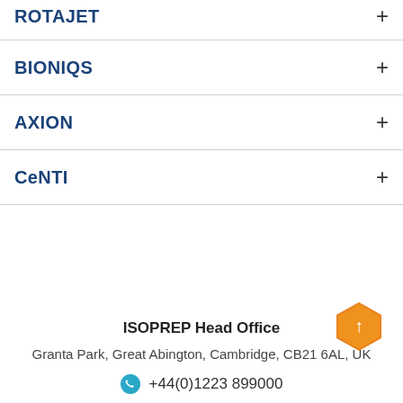ROTAJET
BIONIQS
AXION
CeNTI
ISOPREP Head Office
Granta Park, Great Abington, Cambridge, CB21 6AL, UK
+44(0)1223 899000